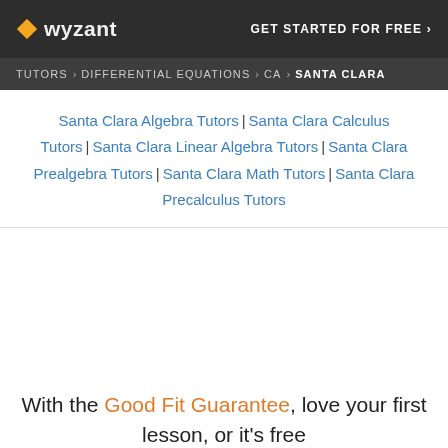wyzant | GET STARTED FOR FREE ›
TUTORS › DIFFERENTIAL EQUATIONS › CA › SANTA CLARA
Santa Clara Algebra Tutors | Santa Clara Calculus Tutors | Santa Clara Linear Algebra Tutors | Santa Clara Prealgebra Tutors | Santa Clara Math Tutors | Santa Clara Precalculus Tutors
With the Good Fit Guarantee, love your first lesson, or it's free